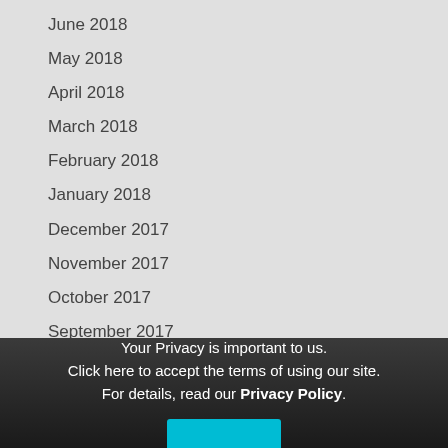June 2018
May 2018
April 2018
March 2018
February 2018
January 2018
December 2017
November 2017
October 2017
September 2017
August 2017
July 2017
Your Privacy is important to us. Click here to accept the terms of using our site. For details, read our Privacy Policy.